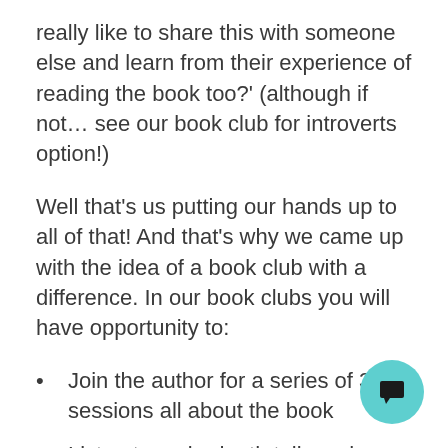really like to share this with someone else and learn from their experience of reading the book too?' (although if not… see our book club for introverts option!)
Well that's us putting our hands up to all of that! And that's why we came up with the idea of a book club with a difference. In our book clubs you will have opportunity to:
Join the author for a series of 3 - 6 sessions all about the book
Listen to an in-depth talk each session about part of the book, delving into